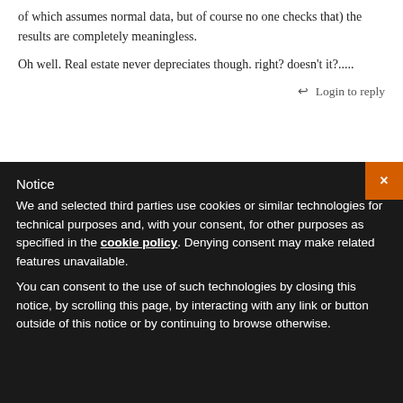of which assumes normal data, but of course no one checks that) the results are completely meaningless.
Oh well. Real estate never depreciates though. right? doesn't it?.....
↩ Login to reply
LEAVE A REPLY
You must be logged in to post a comment.
Notice
We and selected third parties use cookies or similar technologies for technical purposes and, with your consent, for other purposes as specified in the cookie policy. Denying consent may make related features unavailable.
You can consent to the use of such technologies by closing this notice, by scrolling this page, by interacting with any link or button outside of this notice or by continuing to browse otherwise.